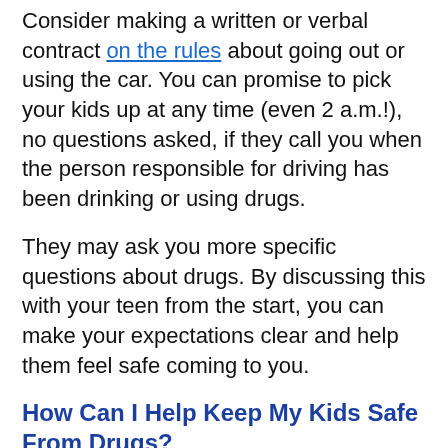Consider making a written or verbal contract on the rules about going out or using the car. You can promise to pick your kids up at any time (even 2 a.m.!), no questions asked, if they call you when the person responsible for driving has been drinking or using drugs.
They may ask you more specific questions about drugs. By discussing this with your teen from the start, you can make your expectations clear and help them feel safe coming to you.
How Can I Help Keep My Kids Safe From Drugs?
Drugs can affect any family. But by talking with your kids and staying involved in their lives, you can help keep them safe.